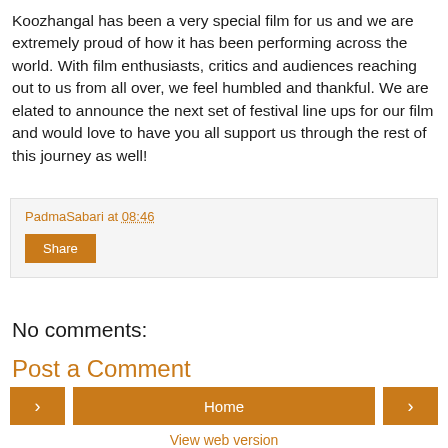Koozhangal has been a very special film for us and we are extremely proud of how it has been performing across the world. With film enthusiasts, critics and audiences reaching out to us from all over, we feel humbled and thankful. We are elated to announce the next set of festival line ups for our film and would love to have you all support us through the rest of this journey as well!
PadmaSabari at 08:46
Share
No comments:
Post a Comment
< Home > View web version